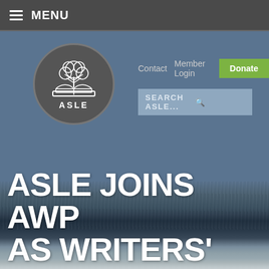MENU
[Figure (logo): ASLE circular logo with tree growing from an open book, on dark grey circle background, with 'ASLE' text below the illustration]
Contact   Member Login   Donate
SEARCH ASLE...
[Figure (photo): Aerial or wide view of ocean/sea with dark water texture and white foamy shoreline at the bottom]
ASLE JOINS AWP AS WRITERS'